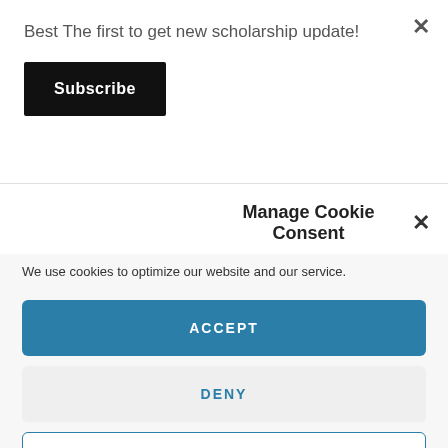Best The first to get new scholarship update!
Subscribe
Earth's materials, structures, processes, and organisms have changed over time.
Manage Cookie Consent
We use cookies to optimize our website and our service.
ACCEPT
DENY
PREFERENCES
Privacy Policy